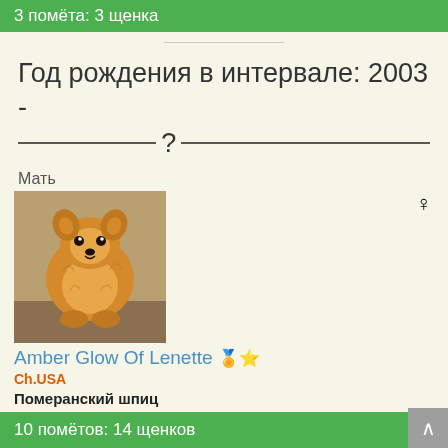3 помёта: 3 щенка
Год рождения в интервале: 2003 - ? ___
Мать
[Figure (photo): Photo of a Pomeranian dog (Amber Glow Of Lenette), fluffy orange/golden coat, sitting, facing camera]
Amber Glow Of Lenette 🏅⭐
Ch.USA
Померанский шпиц
№ родословной: АКС TR 10731804
Родилась: 16 апреля 2003
10 помётов: 14 щенков